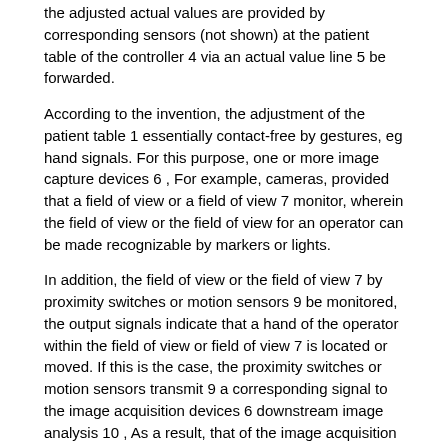the adjusted actual values are provided by corresponding sensors (not shown) at the patient table of the controller 4 via an actual value line 5 be forwarded.
According to the invention, the adjustment of the patient table 1 essentially contact-free by gestures, eg hand signals. For this purpose, one or more image capture devices 6 , For example, cameras, provided that a field of view or a field of view 7 monitor, wherein the field of view or the field of view for an operator can be made recognizable by markers or lights.
In addition, the field of view or the field of view 7 by proximity switches or motion sensors 9 be monitored, the output signals indicate that a hand of the operator within the field of view or field of view 7 is located or moved. If this is the case, the proximity switches or motion sensors transmit 9 a corresponding signal to the image acquisition devices 6 downstream image analysis 10 , As a result, that of the image acquisition devices 6 "seen" gestures or hand movements from image analysis 10 in a programmable manner explained below as setting commands or setpoint specifications for settings of the patient table 1 to the controller 4 to get redirected. The control then operates 4 in